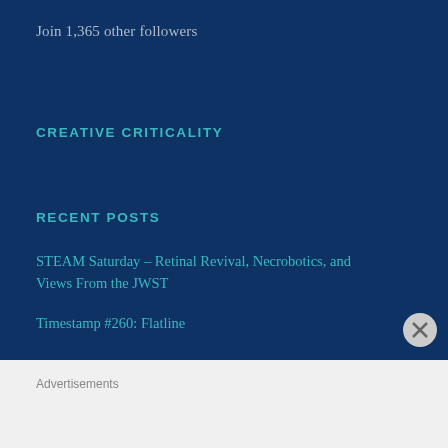Join 1,365 other followers
CREATIVE CRITICALITY
RECENT POSTS
STEAM Saturday – Retinal Revival, Necrobotics, and Views From the JWST
Timestamp #260: Flatline
Advertisements